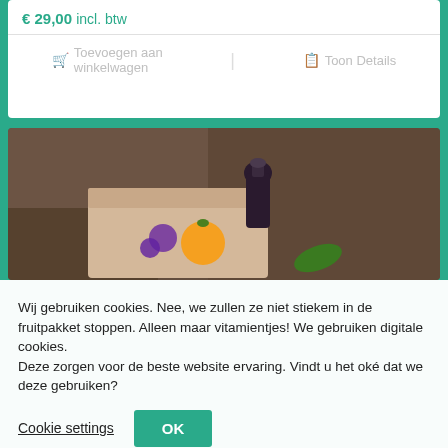€ 29,00 incl. btw
Toevoegen aan winkelwagen
Toon Details
[Figure (photo): A box containing fruits and a dark bottle, photographed from above on a dark surface]
Wij gebruiken cookies. Nee, we zullen ze niet stiekem in de fruitpakket stoppen. Alleen maar vitamientjes! We gebruiken digitale cookies.
Deze zorgen voor de beste website ervaring. Vindt u het oké dat we deze gebruiken?
Cookie settings
OK